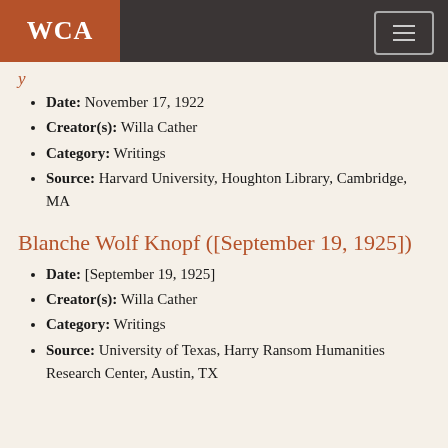WCA
Date: November 17, 1922
Creator(s): Willa Cather
Category: Writings
Source: Harvard University, Houghton Library, Cambridge, MA
Blanche Wolf Knopf ([September 19, 1925])
Date: [September 19, 1925]
Creator(s): Willa Cather
Category: Writings
Source: University of Texas, Harry Ransom Humanities Research Center, Austin, TX